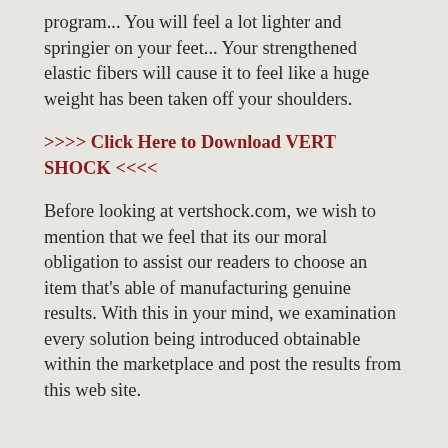program... You will feel a lot lighter and springier on your feet... Your strengthened elastic fibers will cause it to feel like a huge weight has been taken off your shoulders.
>>>> Click Here to Download VERT SHOCK <<<<
Before looking at vertshock.com, we wish to mention that we feel that its our moral obligation to assist our readers to choose an item that's able of manufacturing genuine results. With this in your mind, we examination every solution being introduced obtainable within the marketplace and post the results from this web site.